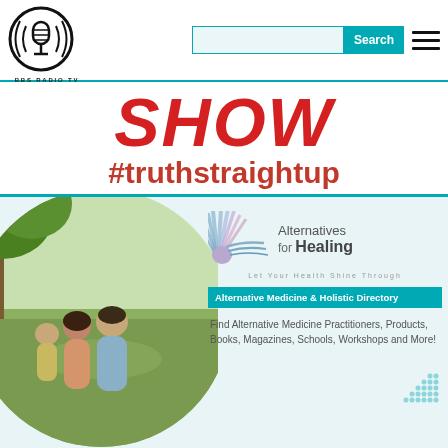[Figure (logo): BBS Radio TV logo - circular black and white radio microphone icon with BBS RADIO TV text below]
[Figure (screenshot): Search bar with teal Search button and hamburger menu icon on right]
SHOW #truthstraightup
[Figure (photo): Circular cropped photo of a family (man, woman, child) sitting outdoors under a tree on grass]
[Figure (logo): Alternatives for Healing - Let Your Health Shine Through logo with sun/rays graphic]
Alternative Medicine & Holistic Directory
Find Alternative Medicine Practitioners, Products, Books, Magazines, Schools, Workshops and More!